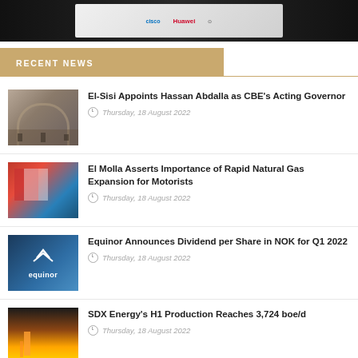[Figure (photo): Top banner image showing stacked books or publications with technology company logos including Cisco, Huawei on dark background]
RECENT NEWS
[Figure (photo): Building with arched entrance, appears to be a bank or government building]
El-Sisi Appoints Hassan Abdalla as CBE's Acting Governor
Thursday, 18 August 2022
[Figure (photo): People at a conference or meeting, Egyptian flag visible]
El Molla Asserts Importance of Rapid Natural Gas Expansion for Motorists
Thursday, 18 August 2022
[Figure (logo): Equinor company logo on blue background]
Equinor Announces Dividend per Share in NOK for Q1 2022
Thursday, 18 August 2022
[Figure (photo): Industrial/energy infrastructure at sunset or sunrise]
SDX Energy's H1 Production Reaches 3,724 boe/d
Thursday, 18 August 2022